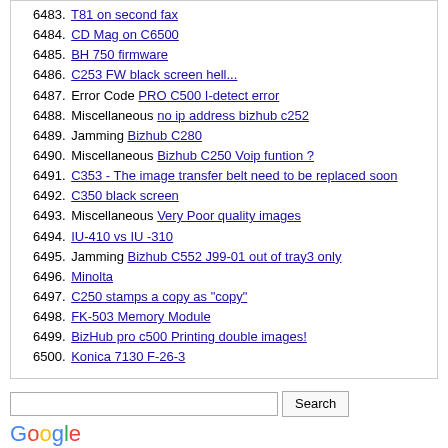6483. T81 on second fax
6484. CD Mag on C6500
6485. BH 750 firmware
6486. C253 FW black screen hell...
6487. Error Code PRO C500 I-detect error
6488. Miscellaneous no ip address bizhub c252
6489. Jamming Bizhub C280
6490. Miscellaneous Bizhub C250 Voip funtion ?
6491. C353 - The image transfer belt need to be replaced soon
6492. C350 black screen
6493. Miscellaneous Very Poor quality images
6494. IU-410 vs IU -310
6495. Jamming Bizhub C552 J99-01 out of tray3 only
6496. Minolta
6497. C250 stamps a copy as "copy"
6498. FK-503 Memory Module
6499. BizHub pro c500 Printing double images!
6500. Konica 7130 F-26-3
[Figure (other): Google Custom Search box with search input field and Search button, followed by Google logo and 'Custom Search' label]
Powered by vBulletin® Version 4.2.5 Copyright © 2022 vBulletin Solutions Inc. All rights reserved.